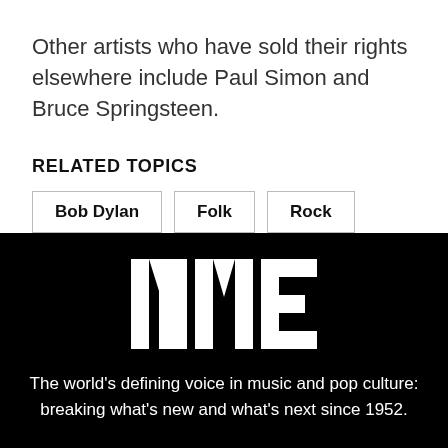Other artists who have sold their rights elsewhere include Paul Simon and Bruce Springsteen.
RELATED TOPICS
Bob Dylan
Folk
Rock
[Figure (logo): NME logo in white bold text on black background]
The world's defining voice in music and pop culture: breaking what's new and what's next since 1952.